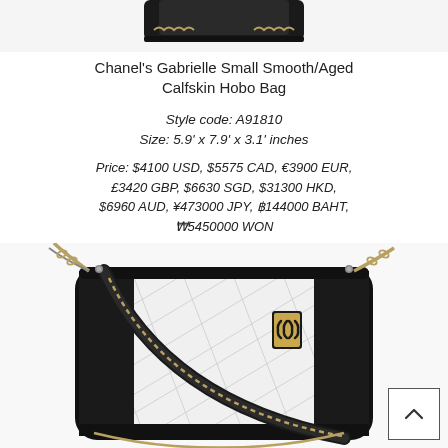[Figure (photo): Top portion of a Chanel black bag, partially cropped at top of page]
Chanel's Gabrielle Small Smooth/Aged Calfskin Hobo Bag
Style code: A91810
Size: 5.9' x 7.9' x 3.1' inches
Price: $4100 USD, $5575 CAD, €3900 EUR, £3420 GBP, $6630 SGD, $31300 HKD, $6960 AUD, ¥473000 JPY, ฿144000 BAHT, ₩5450000 WON
[Figure (photo): Chanel Gabrielle Small Smooth/Aged Calfskin Hobo Bag in black and white with gold CC charm and chain strap]